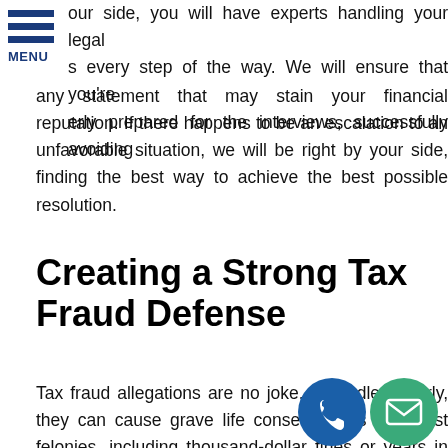MENU
our side, you will have experts handling your legal s every step of the way. We will ensure that you're erly prepared for the interviews, successfully avoiding any statement that may stain your financial reputation. If there happens to be an escalation to an unfavorable situation, we will be right by your side, finding the best way to achieve the best possible resolution.
Creating a Strong Tax Fraud Defense
Tax fraud allegations are no joke. If handled poorly, they can cause grave life consequences like most felonies, including thousand-dollar fines or years in jail. Fortunately, you can always get help from experts to soften the effects of the charges.
With Defense Tax Partners as your tax fraud defense partner, you can expect the aggressive p tion our case. We will do thorough studies of y tua me